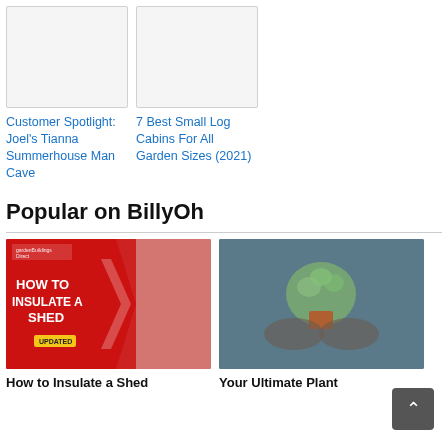[Figure (photo): Empty white image placeholder for Customer Spotlight article]
Customer Spotlight: Joel's Tianna Summerhouse Man Cave
[Figure (photo): Empty white image placeholder for 7 Best Small Log Cabins article]
7 Best Small Log Cabins For All Garden Sizes (2021)
Popular on BillyOh
[Figure (photo): How to Insulate a Shed - red promotional image with Garden Buildings Direct logo and pink insulation texture]
How to Insulate a Shed
[Figure (photo): Hands holding a small potted plant with round green leaves]
Your Ultimate Plant